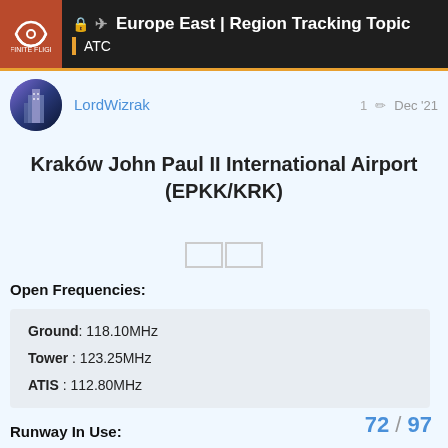🔒 Europe East | Region Tracking Topic — ATC
LordWizrak  1 ✏  Dec '21
Kraków John Paul II International Airport (EPKK/KRK)
Open Frequencies:
Ground: 118.10MHz
Tower : 123.25MHz
ATIS : 112.80MHz
Runway In Use:
72 / 97